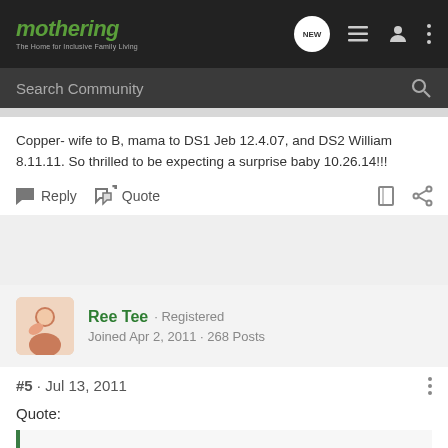mothering · The Home for Inclusive Family Living
Search Community
Copper- wife to B, mama to DS1 Jeb 12.4.07, and DS2 William 8.11.11. So thrilled to be expecting a surprise baby 10.26.14!!!
Reply  Quote
Ree Tee · Registered
Joined Apr 2, 2011 · 268 Posts
#5 · Jul 13, 2011
Quote: